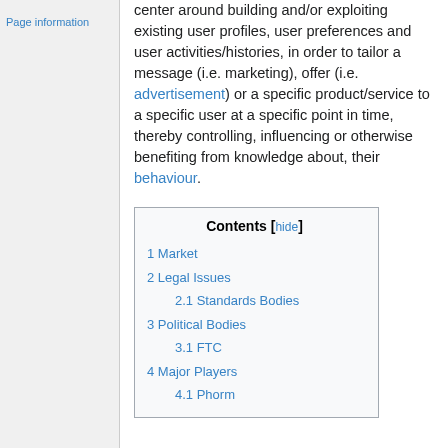Page information
center around building and/or exploiting existing user profiles, user preferences and user activities/histories, in order to tailor a message (i.e. marketing), offer (i.e. advertisement) or a specific product/service to a specific user at a specific point in time, thereby controlling, influencing or otherwise benefiting from knowledge about, their behaviour.
| Contents [hide] |
| 1 Market |
| 2 Legal Issues |
| 2.1 Standards Bodies |
| 3 Political Bodies |
| 3.1 FTC |
| 4 Major Players |
| 4.1 Phorm |